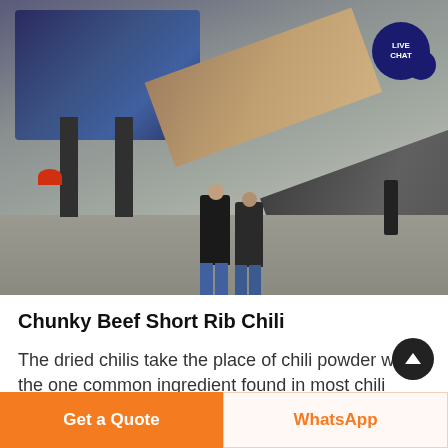[Figure (photo): Industrial machinery/conveyor belt system outdoors with two workers standing in front, blue metal structure visible on the left, diagonal conveyor arms extending to the right, gravel ground, overcast sky. A 'LIVE CHAT' button overlay appears in the top right corner.]
Chunky Beef Short Rib Chili
The dried chilis take the place of chili powder wh… the one common ingredient found in most chili
Get a Quote
WhatsApp